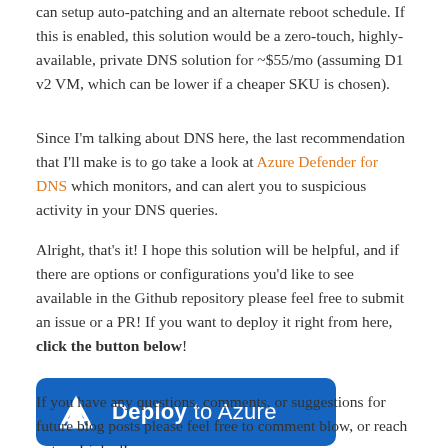can setup auto-patching and an alternate reboot schedule. If this is enabled, this solution would be a zero-touch, highly-available, private DNS solution for ~$55/mo (assuming D1 v2 VM, which can be lower if a cheaper SKU is chosen).
Since I'm talking about DNS here, the last recommendation that I'll make is to go take a look at Azure Defender for DNS which monitors, and can alert you to suspicious activity in your DNS queries.
Alright, that's it! I hope this solution will be helpful, and if there are options or configurations you'd like to see available in the Github repository please feel free to submit an issue or a PR! If you want to deploy it right from here, click the button below!
[Figure (other): Blue 'Deploy to Azure' button with the Azure logo (white triangle/A icon) on the left and the text 'Deploy to Azure' in white.]
If you have any questions, comments, or suggestions for future blog posts please feel free to comment blow, or reach out on LinkedIn or